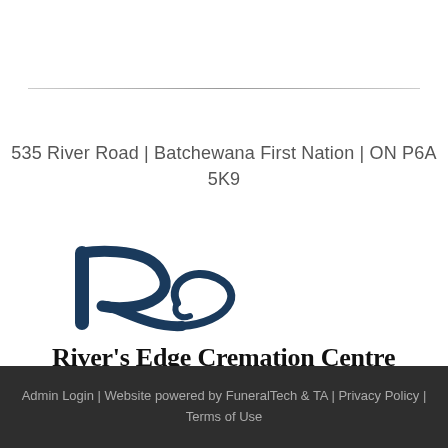535 River Road | Batchewana First Nation | ON P6A 5K9
[Figure (logo): River's Edge Cremation Centre logo: a stylized italic R/swirl mark in navy blue, followed by the business name 'River’s Edge Cremation Centre' in bold serif and tagline '"Respectfully Serving Sault Ste. Marie and Area"' in italic serif]
Admin Login | Website powered by FuneralTech & TA | Privacy Policy | Terms of Use